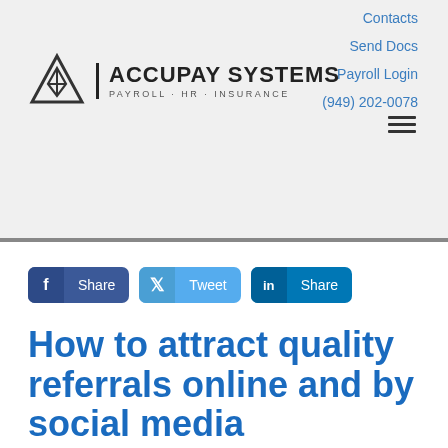[Figure (logo): Accupay Systems logo with triangle/mountain icon and text ACCUPAY SYSTEMS PAYROLL·HR·INSURANCE]
Contacts
Send Docs
Payroll Login
(949) 202-0078
[Figure (infographic): Social sharing buttons: Facebook Share, Twitter Tweet, LinkedIn Share]
How to attract quality referrals online and by social media